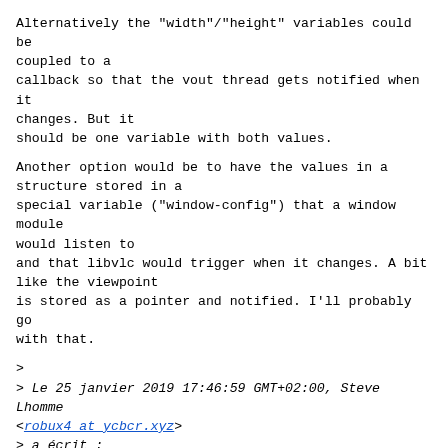Alternatively the "width"/"height" variables could be coupled to a
callback so that the vout thread gets notified when it changes. But it
should be one variable with both values.
Another option would be to have the values in a structure stored in a
special variable ("window-config") that a window module would listen to
and that libvlc would trigger when it changes. A bit like the viewpoint
is stored as a pointer and notified. I'll probably go with that.
>
> Le 25 janvier 2019 17:46:59 GMT+02:00, Steve Lhomme <robux4 at ycbcr.xyz>
> a écrit :
>
>      When rendering in VLC the window size affects the rendering as SPU may need to
>      be rendered bigger than the video. A host app should get the same quality. If
>      it's playing a small video the SPU should still have a correct size when displayed
>      large.
>
>      So we need an API to tell libvlc the rendering